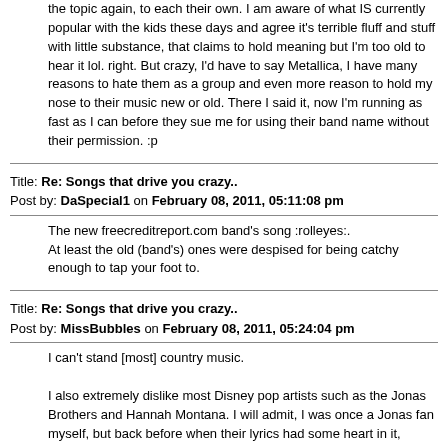the topic again, to each their own.  I am aware of what IS currently popular with the kids these days and agree it's terrible fluff and stuff with little substance, that claims to hold meaning but I'm too old to hear it lol. right.  But crazy, I'd have to say Metallica, I have many reasons to hate them as a group and even more reason to hold my nose to their music new or old. There I said it, now I'm running as fast as I can before they sue me for using their band name without their permission.  :p
Title: Re: Songs that drive you crazy..
Post by: DaSpecial1 on February 08, 2011, 05:11:08 pm
The new freecreditreport.com band's song :rolleyes:.
 At least the old (band's) ones were despised for being catchy enough to tap your foot to.
Title: Re: Songs that drive you crazy..
Post by: MissBubbles on February 08, 2011, 05:24:04 pm
I can't stand [most] country music.

I also extremely dislike most Disney pop artists such as the Jonas Brothers and Hannah Montana. I will admit, I was once a Jonas fan myself, but back before when their lyrics had some heart in it, before Disney took them over and made them sing crap.